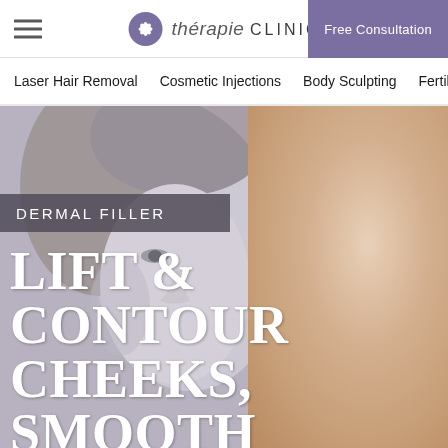thérapie CLINIC | Free Consultation
Laser Hair Removal
Cosmetic Injections
Body Sculpting
Fertilit...
[Figure (photo): Split image showing a woman's face: left side in black and white/greyscale with hair pulled back, right side in full color showing a close-up of a woman with brown hair, green eyes, and smooth glowing skin. Promotional image for Dermal Filler treatment.]
DERMAL FILLER
LIFT & CONTOUR CHEEKS, SMOOTH LINES OR PLUMP LIPS